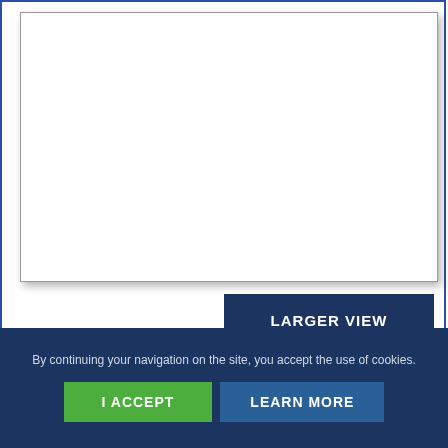[Figure (photo): White greeting card shown against a white background inside a bordered container with blue border. Card area is mostly blank/white.]
LARGER VIEW
Cards as shown (No Imprinting)
Part Number	NC29
By continuing your navigation on the site, you accept the use of cookies.
I ACCEPT
LEARN MORE